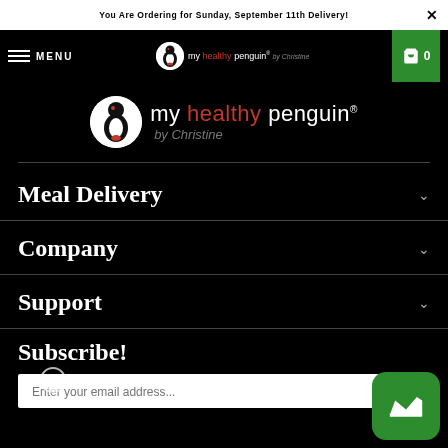You Are Ordering for Sunday, September 11th Delivery!
[Figure (logo): My Healthy Penguin by Christine logo in navigation bar]
MENU
[Figure (logo): My Healthy Penguin by Christine large logo with penguin icon circle]
Meal Delivery
Company
Support
Subscribe!
Enter your email address...